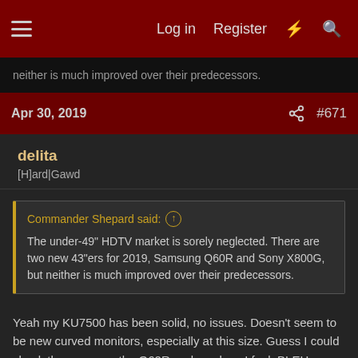Log in  Register  #671
neither is much improved over their predecessors.
Apr 30, 2019  #671
delita
[H]ard|Gawd
Commander Shepard said: ↑
The under-49" HDTV market is sorely neglected. There are two new 43"ers for 2019, Samsung Q60R and Sony X800G, but neither is much improved over their predecessors.
Yeah my KU7500 has been solid, no issues. Doesn't seem to be new curved monitors, especially at this size. Guess I could check the specs on the Q60R and see how I feel, BLEH.
And of course there's still no worthy g-sync 4k monitors.